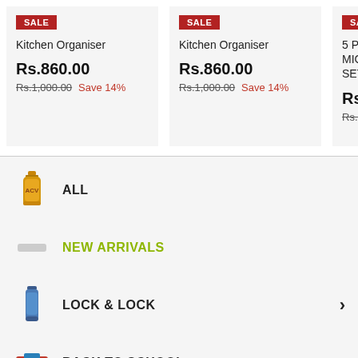[Figure (screenshot): Product card: Kitchen Organiser with SALE badge, Rs.860.00 sale price, Rs.1,000.00 original, Save 14%]
[Figure (screenshot): Product card: Kitchen Organiser with SALE badge, Rs.860.00 sale price, Rs.1,000.00 original, Save 14%]
[Figure (screenshot): Partial product card: 5 PCS MICRO SET with SALE badge, Rs.2,2.. sale price, Rs.2,7.. original]
ALL
NEW ARRIVALS
LOCK & LOCK
BACK TO SCHOOL
TABLE WARE